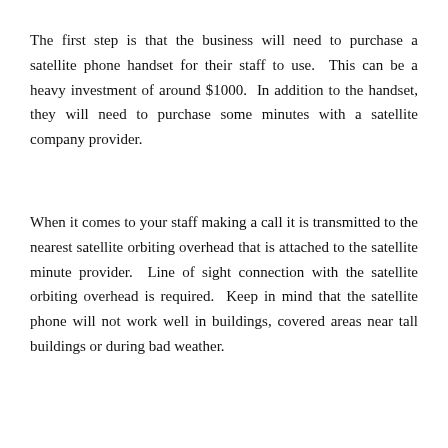The first step is that the business will need to purchase a satellite phone handset for their staff to use. This can be a heavy investment of around $1000. In addition to the handset, they will need to purchase some minutes with a satellite company provider.
When it comes to your staff making a call it is transmitted to the nearest satellite orbiting overhead that is attached to the satellite minute provider. Line of sight connection with the satellite orbiting overhead is required. Keep in mind that the satellite phone will not work well in buildings, covered areas near tall buildings or during bad weather.